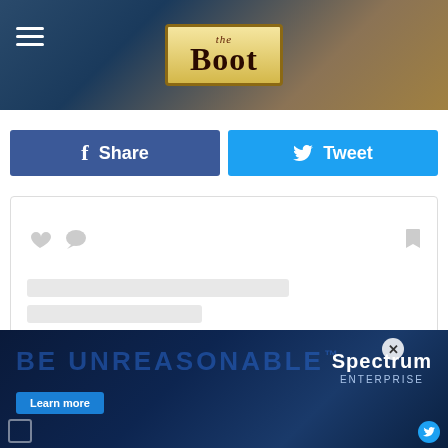[Figure (screenshot): The Boot website header with logo on textured background]
[Figure (screenshot): Facebook Share and Twitter Tweet social sharing buttons]
[Figure (screenshot): Embedded Instagram/social post from Eagles (@eagles) with loading skeleton]
Hotel California, the fifth studio album of the group's career,
[Figure (screenshot): Spectrum Enterprise advertisement with BE UNREASONABLE text]